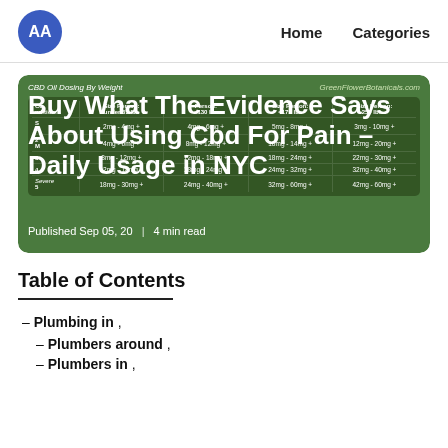AA  Home  Categories
[Figure (table-as-image): CBD Oil Dosing By Weight table from GreenFlowerBotanicals.com showing dosing ranges by condition severity (1-5) and person size categories]
Buy What The Evidence Says About Using Cbd For Pain – Daily Usage in NYC
Published Sep 05, 20  |  4 min read
Table of Contents
– Plumbing in ,
– Plumbers around ,
– Plumbers in ,